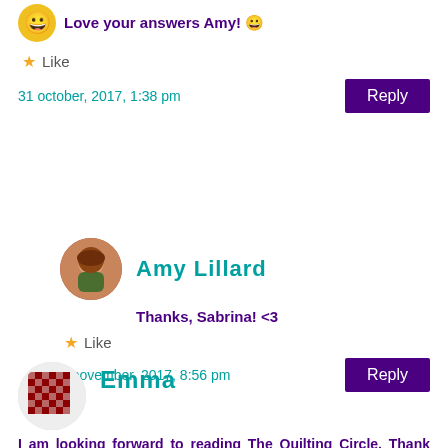Love your answers Amy! 😀
Like
31 october, 2017, 1:38 pm
Reply
Amy Lillard
Thanks, Sabrina! <3
Like
2 november, 2017, 8:56 pm
Reply
Emma
I am looking forward to reading The Quilting Circle. Thank you for the opportunity to win. I enjoy reading your books